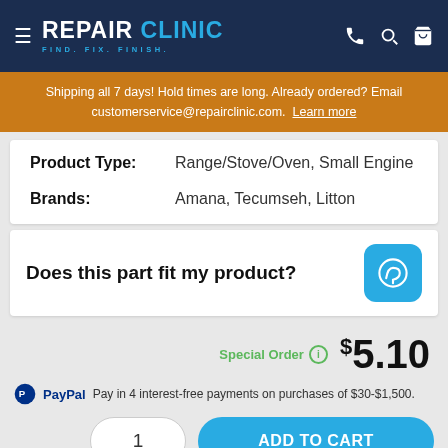REPAIR CLINIC — FIND. FIX. FINISH.
Shipping all 7 days! Hold times are long. Already ordered? Email customerservice@repairclinic.com. Learn more
| Field | Value |
| --- | --- |
| Product Type: | Range/Stove/Oven, Small Engine |
| Brands: | Amana, Tecumseh, Litton |
Does this part fit my product?
Special Order  $5.10
PayPal Pay in 4 interest-free payments on purchases of $30-$1,500.
1  ADD TO CART